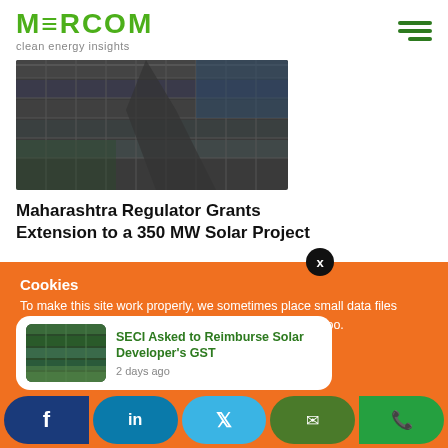MERCOM clean energy insights
[Figure (photo): Aerial view of solar panels installed on a rooftop or field, dark blue panels arranged in rows]
Maharashtra Regulator Grants Extension to a 350 MW Solar Project
Cookies
To make this site work properly, we sometimes place small data files called cookies on your device. Most websites do this too.
[Figure (photo): Small thumbnail of solar panels in green field]
SECI Asked to Reimburse Solar Developer's GST
2 days ago
Share buttons: Facebook, LinkedIn, Twitter, Email, WhatsApp